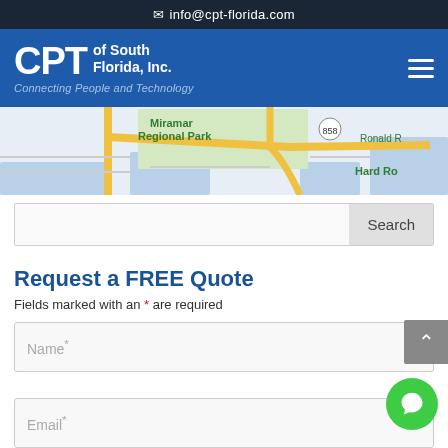✉ info@cpt-florida.com
[Figure (logo): CPT of South Florida, Inc. logo with tagline 'Connecting People and Technology' on a blue navigation bar with hamburger menu icon]
[Figure (map): Google Maps screenshot showing Miramar Regional Park area with route 858, Ronald (Reagan Blvd), and Hard Rock area visible]
Search
Request a FREE Quote
Fields marked with an * are required
Name*
Email*